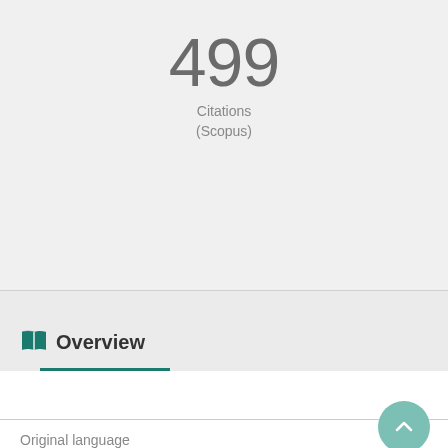499
Citations
(Scopus)
Overview
Original language
English
Pages (from-to)